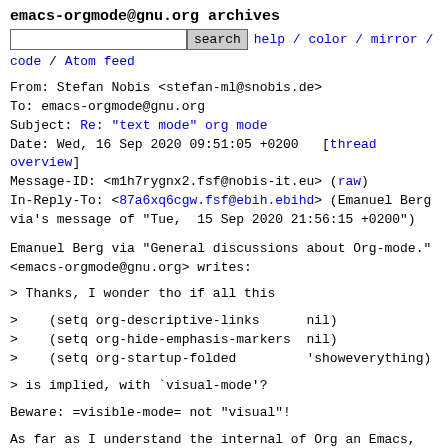emacs-orgmode@gnu.org archives
search  help / color / mirror / code / Atom feed
From: Stefan Nobis <stefan-ml@snobis.de>
To: emacs-orgmode@gnu.org
Subject: Re: "text mode" org mode
Date: Wed, 16 Sep 2020 09:51:05 +0200   [thread overview]
Message-ID: <m1h7rygnx2.fsf@nobis-it.eu> (raw)
In-Reply-To: <87a6xq6cgw.fsf@ebih.ebihd> (Emanuel Berg via's message of "Tue,  15 Sep 2020 21:56:15 +0200")
Emanuel Berg via "General discussions about Org-mode."
<emacs-orgmode@gnu.org> writes:
> Thanks, I wonder tho if all this
>    (setq org-descriptive-links      nil)
>    (setq org-hide-emphasis-markers  nil)
>    (setq org-startup-folded         'showeverything)
> is implied, with `visual-mode'?
Beware: =visible-mode= not "visual"!
As far as I understand the internal of Org an Emacs,
some of the
visual features of Org are implemented with overlays,